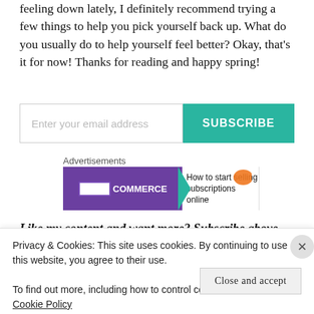feeling down lately, I definitely recommend trying a few things to help you pick yourself back up. What do you usually do to help yourself feel better? Okay, that's it for now! Thanks for reading and happy spring!
[Figure (other): Email subscription form with text input field labeled 'Enter your email address' and a teal 'SUBSCRIBE' button]
Advertisements
[Figure (other): WooCommerce advertisement banner: purple left side with WooCommerce logo and teal arrow, white right side with text 'How to start selling subscriptions online' and orange shape]
Like my content and want more? Subscribe above with
Privacy & Cookies: This site uses cookies. By continuing to use this website, you agree to their use.
To find out more, including how to control cookies, see here: Cookie Policy
Close and accept